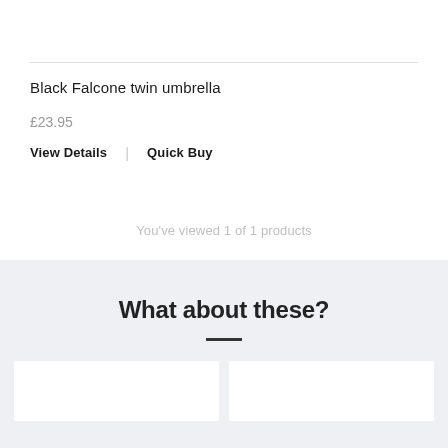Black Falcone twin umbrella
£23.95
View Details | Quick Buy
You've viewed 1 of 1 products
What about these?